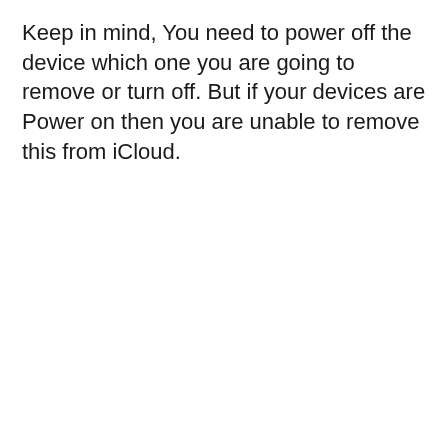Keep in mind, You need to power off the device which one you are going to remove or turn off. But if your devices are Power on then you are unable to remove this from iCloud.
[Figure (screenshot): iCloud notification banner showing 'iCloud storage is full. Photos, videos, documents and data are no longer being updated. Learn M' on a yellow background, followed by a map interface showing an iPhone device icon with purple redacted labels above and below it, and 'Offline' text beneath the device.]